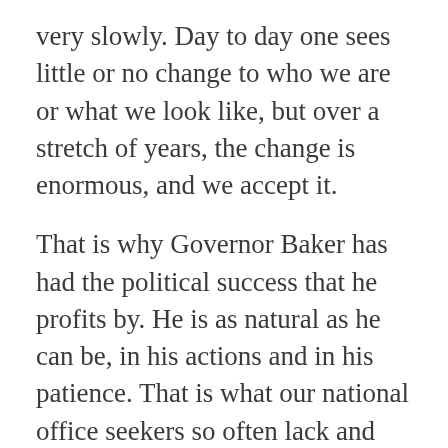very slowly. Day to day one sees little or no change to who we are or what we look like, but over a stretch of years, the change is enormous, and we accept it.
That is why Governor Baker has had the political success that he profits by. He is as natural as he can be, in his actions and in his patience. That is what our national office seekers so often lack and why they arouse more trouble than benefit. They want it all done NOW : racism must end NOW, if not 35 years ago; sexual customs must be disciplined NOW, if not 34 years back. Transformation of our energy system must happen immediately. Everything is on the hurry, hurry, hurry. Well guess what ? You want to hurry people, expect